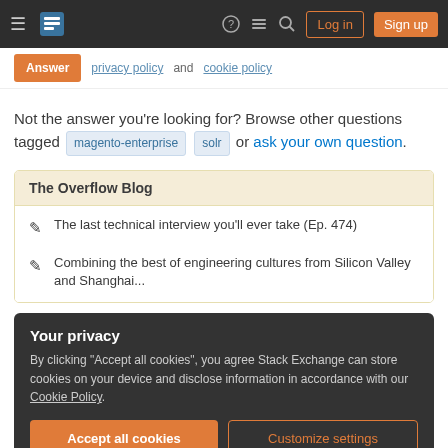Stack Exchange navigation bar with Log in and Sign up buttons
privacy policy and cookie policy
Not the answer you're looking for? Browse other questions tagged magento-enterprise solr or ask your own question.
The Overflow Blog
The last technical interview you'll ever take (Ep. 474)
Combining the best of engineering cultures from Silicon Valley and Shanghai...
Your privacy
By clicking "Accept all cookies", you agree Stack Exchange can store cookies on your device and disclose information in accordance with our Cookie Policy.
Related